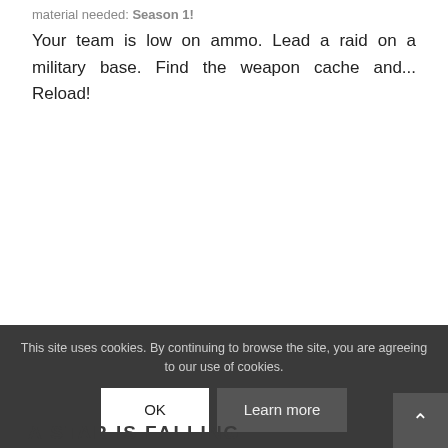material needed: Season 1!
Your team is low on ammo. Lead a raid on a military base. Find the weapon cache and... Reload!
This site uses cookies. By continuing to browse the site, you are agreeing to our use of cookies.
OK
Learn more
A STAR IS FALLING